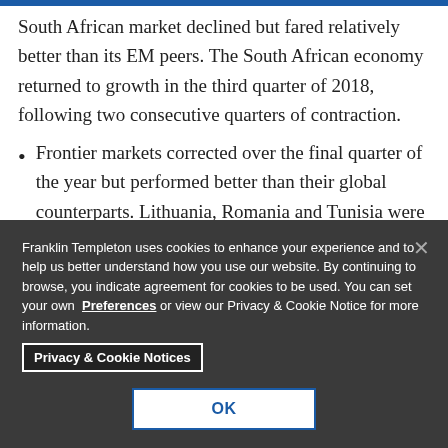South African market declined but fared relatively better than its EM peers. The South African economy returned to growth in the third quarter of 2018, following two consecutive quarters of contraction.
Frontier markets corrected over the final quarter of the year but performed better than their global counterparts. Lithuania, Romania and Tunisia were among the weakest markets. Vietnam and Kenya also
Franklin Templeton uses cookies to enhance your experience and to help us better understand how you use our website. By continuing to browse, you indicate agreement for cookies to be used. You can set your own Preferences or view our Privacy & Cookie Notice for more information.
Privacy & Cookie Notices
OK